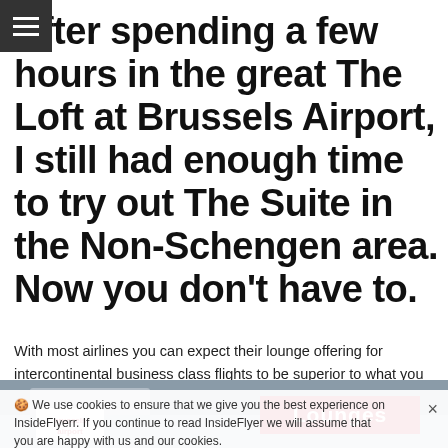After spending a few hours in the great The Loft at Brussels Airport, I still had enough time to try out The Suite in the Non-Schengen area. Now you don't have to.
With most airlines you can expect their lounge offering for intercontinental business class flights to be superior to what you will get before a regional flight. Unfortunately, The Suite at Brussels Airport is an example of the opposite. Unlike Brussels Airlines flagship lounge The Loft, The Suite is a huge disappointment.
We use cookies to ensure that we give you the best experience on InsideFlyerr. If you continue to read InsideFlyer we will assume that you are happy with us and our cookies.
[Figure (photo): Photo of Brussels Airport lounge sign showing 'Lounges' on a red background with Brussels Airport logo]